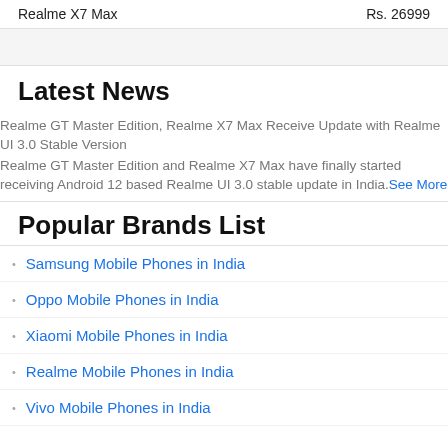| Model | Price |
| --- | --- |
| Realme X7 Max | Rs. 26999 |
Latest News
Realme GT Master Edition, Realme X7 Max Receive Update with Realme UI 3.0 Stable Version
Realme GT Master Edition and Realme X7 Max have finally started receiving Android 12 based Realme UI 3.0 stable update in India. See More
Popular Brands List
Samsung Mobile Phones in India
Oppo Mobile Phones in India
Xiaomi Mobile Phones in India
Realme Mobile Phones in India
Vivo Mobile Phones in India